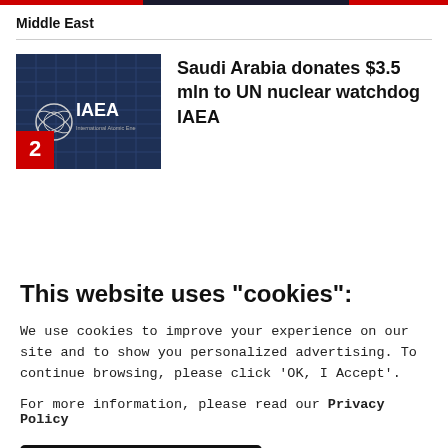Middle East
[Figure (photo): IAEA building facade with IAEA logo and text 'International Atomic Energy', numbered badge '2' in red at bottom left]
Saudi Arabia donates $3.5 mln to UN nuclear watchdog IAEA
This website uses "cookies":
We use cookies to improve your experience on our site and to show you personalized advertising. To continue browsing, please click 'OK, I Accept'.
For more information, please read our Privacy Policy
Ok, I Accept